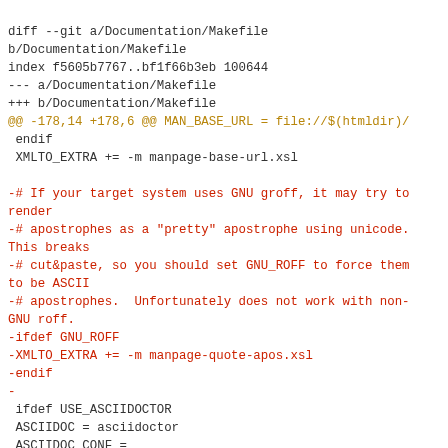diff --git a/Documentation/Makefile b/Documentation/Makefile
index f5605b7767..bf1f66b3eb 100644
--- a/Documentation/Makefile
+++ b/Documentation/Makefile
@@ -178,14 +178,6 @@ MAN_BASE_URL = file://$(htmldir)/
 endif
 XMLTO_EXTRA += -m manpage-base-url.xsl

-# If your target system uses GNU groff, it may try to render
-# apostrophes as a "pretty" apostrophe using unicode. This breaks
-# cut&paste, so you should set GNU_ROFF to force them to be ASCII
-# apostrophes.  Unfortunately does not work with non-GNU roff.
-ifdef GNU_ROFF
-XMLTO_EXTRA += -m manpage-quote-apos.xsl
-endif
-
 ifdef USE_ASCIIDOCTOR
 ASCIIDOC = asciidoctor
 ASCIIDOC_CONF =
diff --git a/Documentation/manpage-quote-apos.xsl b/Documentation/manpage-quote-apos.xsl
deleted file mode 100644
index aeb8839f33..0000000000
diff --git a/Makefile b/Makefile
index 93664d6714..2a94cef62f 100644